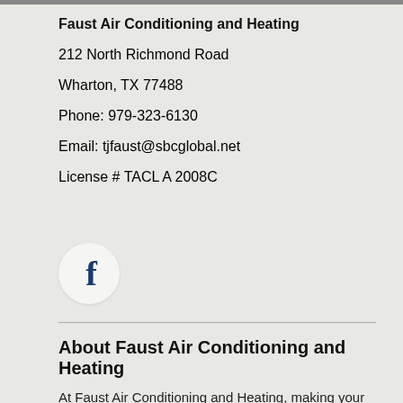Faust Air Conditioning and Heating
212 North Richmond Road
Wharton, TX 77488
Phone: 979-323-6130
Email: tjfaust@sbcglobal.net
License # TACL A 2008C
[Figure (logo): Facebook logo icon: white circle with bold dark blue letter f]
About Faust Air Conditioning and Heating
At Faust Air Conditioning and Heating, making your home cozy is our biggest interest. That's why